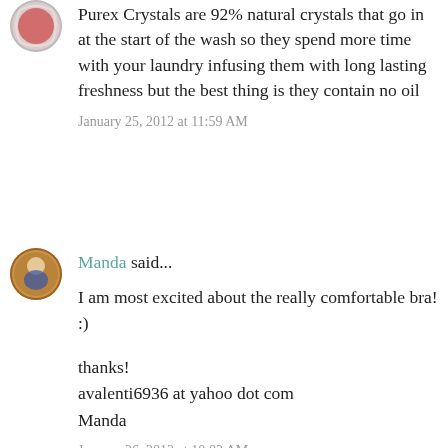[Figure (photo): Round avatar image of a user, partially visible at top, showing a red and white circular profile picture]
Purex Crystals are 92% natural crystals that go in at the start of the wash so they spend more time with your laundry infusing them with long lasting freshness but the best thing is they contain no oil
January 25, 2012 at 11:59 AM
[Figure (photo): Round avatar image of Manda, showing a person in a basket-weave style circular frame]
Manda said...
I am most excited about the really comfortable bra! :)
thanks!
avalenti6936 at yahoo dot com
Manda
January 26, 2012 at 10:02 AM